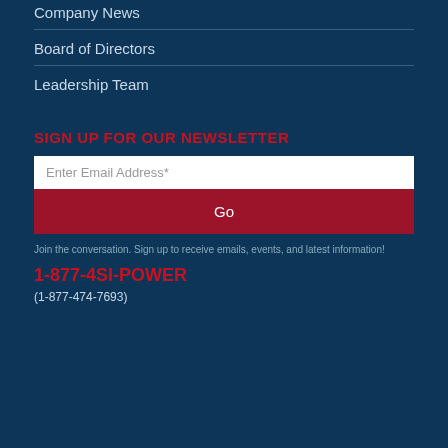Company News
Board of Directors
Leadership Team
SIGN UP FOR OUR NEWSLETTER
Enter Email Address*
Go
Join the conversation. Sign up to receive emails, events, and latest information!
1-877-4SI-POWER
(1-877-474-7693)